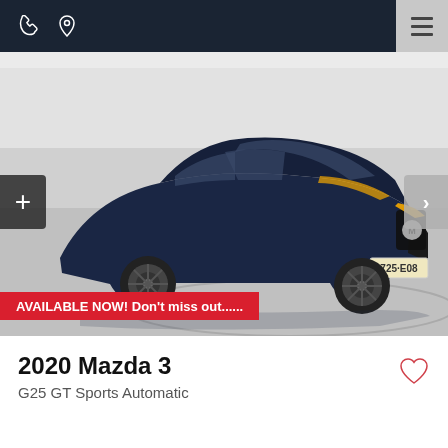Navigation bar with phone, location icons and hamburger menu
[Figure (photo): 2020 Mazda 3 G25 GT Sports Automatic in dark navy blue, photographed in a dealership studio on a turntable. Queensland license plate 725-E08. Red banner overlay: AVAILABLE NOW! Don't miss out......]
2020 Mazda 3
G25 GT Sports Automatic